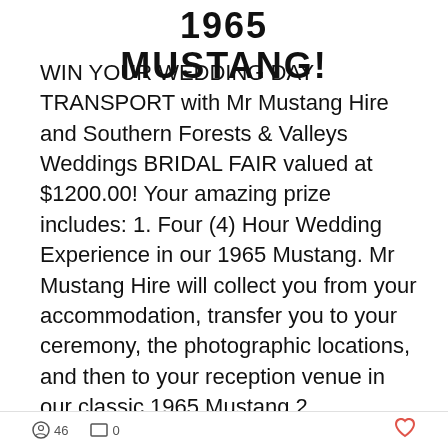1965 MUSTANG!
WIN YOUR WEDDING DAY TRANSPORT with Mr Mustang Hire and Southern Forests & Valleys Weddings BRIDAL FAIR valued at $1200.00! Your amazing prize includes: 1. Four (4) Hour Wedding Experience in our 1965 Mustang. Mr Mustang Hire will collect you from your accommodation, transfer you to your ceremony, the photographic locations, and then to your reception venue in our classic 1965 Mustang 2. Photographic locations 3. Champagne flutes *Champagne available upon request for an addit
46  0